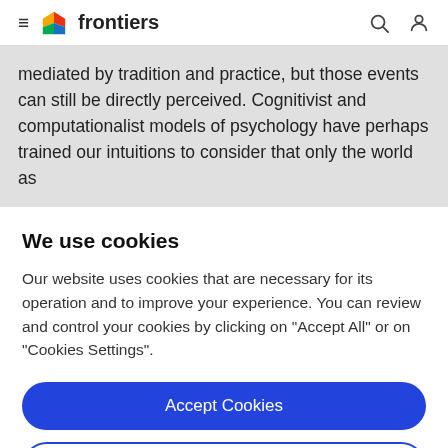frontiers
mediated by tradition and practice, but those events can still be directly perceived. Cognitivist and computationalist models of psychology have perhaps trained our intuitions to consider that only the world as
We use cookies
Our website uses cookies that are necessary for its operation and to improve your experience. You can review and control your cookies by clicking on "Accept All" or on "Cookies Settings".
Accept Cookies
Cookies Settings